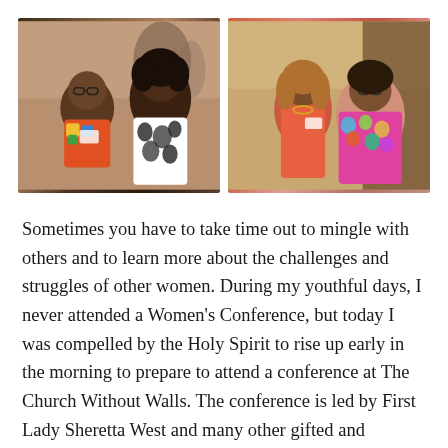[Figure (photo): Two side-by-side photos of women at a conference. Left photo shows two women posing together indoors, one wearing glasses and colorful top, the other in a black-and-white patterned dress. Right photo shows two women smiling together, one in a coral/salmon dress and one in a colorful multicolor top.]
Sometimes you have to take time out to mingle with others and to learn more about the challenges and struggles of other women. During my youthful days, I never attended a Women's Conference, but today I was compelled by the Holy Spirit to rise up early in the morning to prepare to attend a conference at The Church Without Walls. The conference is led by First Lady Sheretta West and many other gifted and talented women in the United States.